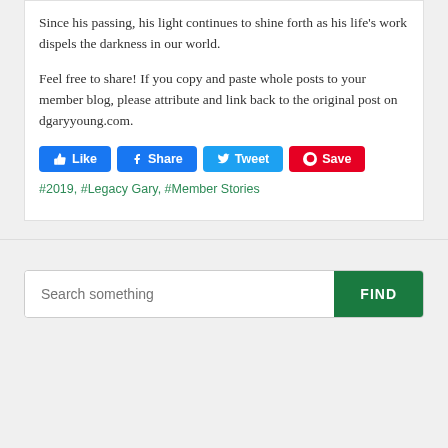Since his passing, his light continues to shine forth as his life's work dispels the darkness in our world.
Feel free to share! If you copy and paste whole posts to your member blog, please attribute and link back to the original post on dgaryyoung.com.
#2019, #Legacy Gary, #Member Stories